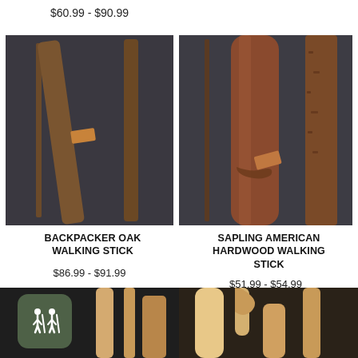$60.99 - $90.99
[Figure (photo): Walking sticks - Backpacker Oak Walking Stick product photo on dark background]
BACKPACKER OAK WALKING STICK
$86.99 - $91.99
[Figure (photo): Walking sticks - Sapling American Hardwood Walking Stick product photo on dark background]
SAPLING AMERICAN HARDWOOD WALKING STICK
$51.99 - $54.99
[Figure (photo): Bottom left walking stick product image, partial, with green icon badge showing two hikers]
[Figure (photo): Bottom right walking stick product image, partial, light wood tones]